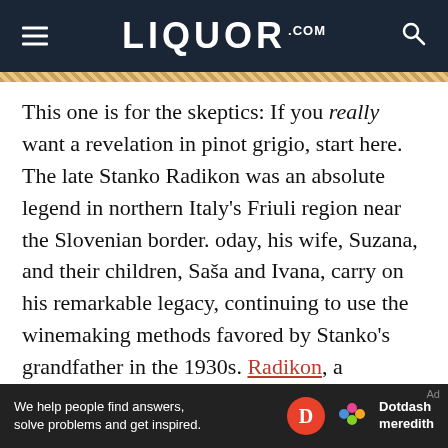LIQUOR.COM
This one is for the skeptics: If you really want a revelation in pinot grigio, start here. The late Stanko Radikon was an absolute legend in northern Italy's Friuli region near the Slovenian border. oday, his wife, Suzana, and their children, Saša and Ivana, carry on his remarkable legacy, continuing to use the winemaking methods favored by Stanko's grandfather in the 1930s. Radikon, a biodynamic winery, makes its pinot grigio in the traditional ramato style, so the grapes stay on their skins for a couple of weeks to extract color and tannin,
[Figure (logo): Dotdash Meredith advertisement bar with text: We help people find answers, solve problems and get inspired.]